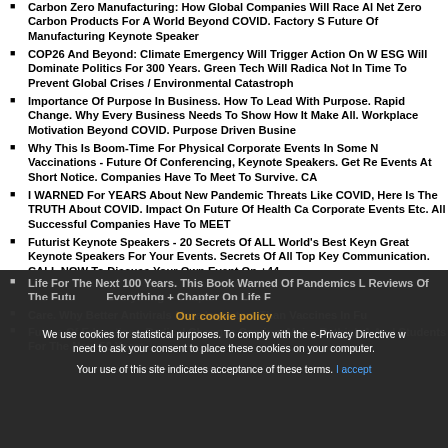Carbon Zero Manufacturing: How Global Companies Will Race Al Net Zero Carbon Products For A World Beyond COVID. Factory S Future Of Manufacturing Keynote Speaker
COP26 And Beyond: Climate Emergency Will Trigger Action On W ESG Will Dominate Politics For 300 Years. Green Tech Will Radica Not In Time To Prevent Global Crises / Environmental Catastroph
Importance Of Purpose In Business. How To Lead With Purpose. Rapid Change. Why Every Business Needs To Show How It Make All. Workplace Motivation Beyond COVID. Purpose Driven Busine
Why This Is Boom-Time For Physical Corporate Events In Some N Vaccinations - Future Of Conferencing, Keynote Speakers. Get R Events At Short Notice. Companies Have To Meet To Survive. CA
I WARNED For YEARS About New Pandemic Threats Like COVID, Here Is The TRUTH About COVID. Impact On Future Of Health Ca Corporate Events Etc. All Successful Companies Have To MEET
Futurist Keynote Speakers - 20 Secrets Of ALL World's Best Keyn Great Keynote Speakers For Your Events. Secrets Of All Top Key Communication. CALL NOW To Discuss Your Own Event On +44
BORED OF VIRTUAL EVENTS? 10 Keys To World-Class Virtual K Interactive, Entertaining, Engaging. AVOID CLIENT DISASTERS. Webinars For Up To 800,000 Live Participants Or Workshop Or Be
Take Hold Of Your Future! How To Make Radical Changes. Future Book Co-Author Sheila Dixon. Our 11,000 Mile Adventure, Sailing Working Virtually, Re-Inventing Our Global Business.Lessons Fo
Life For The Next 100 Years. This Book Warned Of Pandemics L Reviews Of The Futu Everything + Chapter On Life F
Care. Why Better Antivirals More Important Than Vaccines In Fu
Future Of Education - Radical Changes Coming. Major Rethink A And Students For The Next 50 Years.
Our cookie policy
We use cookies for statistical purposes. To comply with the e-Privacy Directive we need to ask your consent to place these cookies on your computer.
Your use of this site indicates acceptance of these terms. I accept